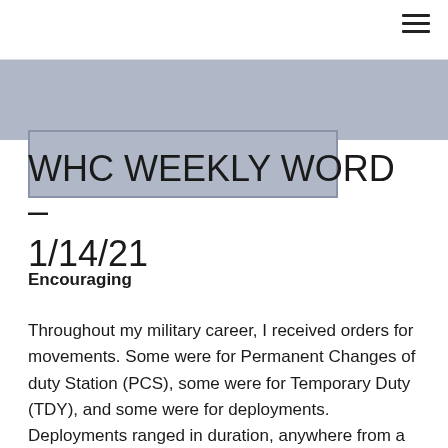[Figure (other): Gray banner/hero image area with a lighter gray rectangle border inset]
WHC WEEKLY WORD – 1/14/21
Encouraging
Throughout my military career, I received orders for movements. Some were for Permanent Changes of duty Station (PCS), some were for Temporary Duty (TDY), and some were for deployments. Deployments ranged in duration, anywhere from a couple of weeks to a year. In my case, the longest was for 18 months. It started out as a one-year tour and was extended for another 6 months. One difference between the three is that a deployment is without your family. I was in the Kingdom of Saudi